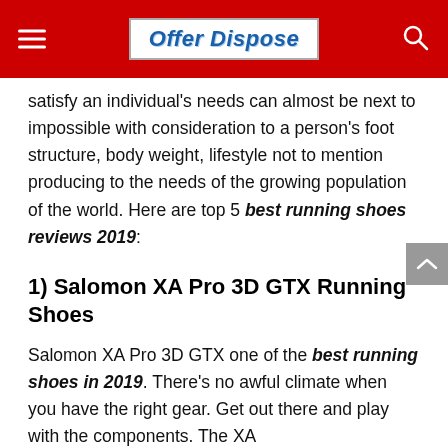Offer Dispose
satisfy an individual's needs can almost be next to impossible with consideration to a person's foot structure, body weight, lifestyle not to mention producing to the needs of the growing population of the world. Here are top 5 best running shoes reviews 2019:
1) Salomon XA Pro 3D GTX Running Shoes
Salomon XA Pro 3D GTX one of the best running shoes in 2019. There's no awful climate when you have the right gear. Get out there and play with the components. The XA